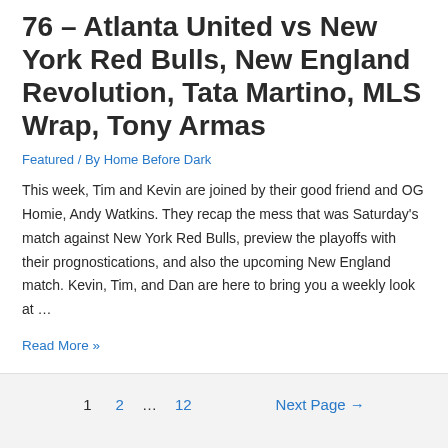76 – Atlanta United vs New York Red Bulls, New England Revolution, Tata Martino, MLS Wrap, Tony Armas
Featured / By Home Before Dark
This week, Tim and Kevin are joined by their good friend and OG Homie, Andy Watkins. They recap the mess that was Saturday's match against New York Red Bulls, preview the playoffs with their prognostications, and also the upcoming New England match. Kevin, Tim, and Dan are here to bring you a weekly look at …
Read More »
1  2  …  12  Next Page →